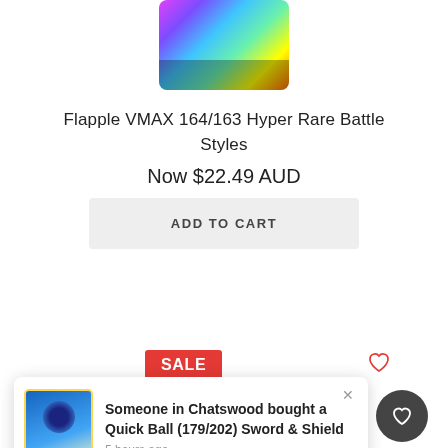[Figure (photo): Top portion of a Flapple VMAX Pokemon trading card with rainbow/hyper rare foil art visible]
Flapple VMAX 164/163 Hyper Rare Battle Styles
Now $22.49 AUD
ADD TO CART
SALE
Someone in Chatswood bought a Quick Ball (179/202) Sword & Shield
5 hours ago
[Figure (photo): Bottom portion of a Pokemon trading card (blue background, Rescue card) partially visible at bottom of page]